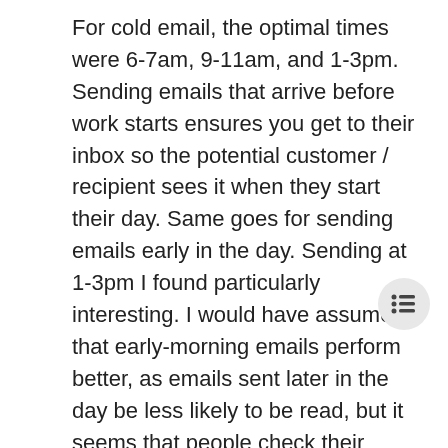For cold email, the optimal times were 6-7am, 9-11am, and 1-3pm. Sending emails that arrive before work starts ensures you get to their inbox so the potential customer / recipient sees it when they start their day. Same goes for sending emails early in the day. Sending at 1-3pm I found particularly interesting. I would have assumed that early-morning emails perform better, as emails sent later in the day be less likely to be read, but it seems that people check their emails either during or right after lunch, and so that is why it can be effective.
So, if you are using cold email software, your sales team should consider scheduling your